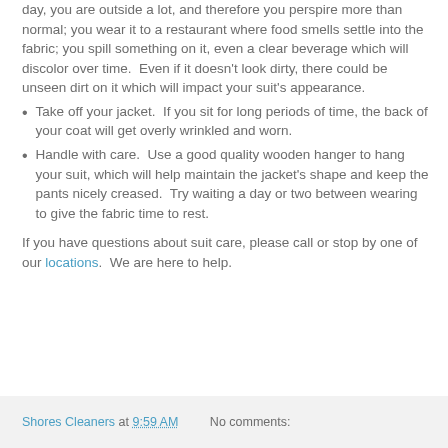day, you are outside a lot, and therefore you perspire more than normal; you wear it to a restaurant where food smells settle into the fabric; you spill something on it, even a clear beverage which will discolor over time.  Even if it doesn't look dirty, there could be unseen dirt on it which will impact your suit's appearance.
Take off your jacket.  If you sit for long periods of time, the back of your coat will get overly wrinkled and worn.
Handle with care.  Use a good quality wooden hanger to hang your suit, which will help maintain the jacket's shape and keep the pants nicely creased.  Try waiting a day or two between wearing to give the fabric time to rest.
If you have questions about suit care, please call or stop by one of our locations.  We are here to help.
Shores Cleaners at 9:59 AM   No comments: